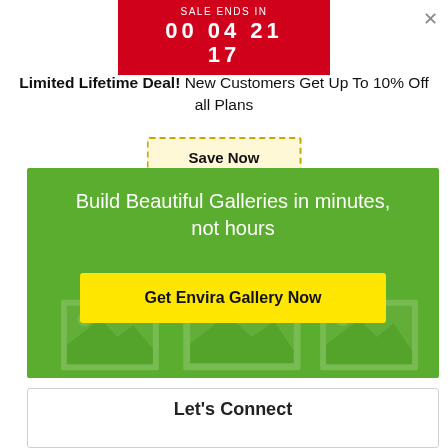SALE ENDS IN 00 04 21 17
Limited Lifetime Deal! New Customers Get Up To 10% Off all Plans
Save Now
[Figure (illustration): Green promotional banner with text 'Build Beautiful Galleries in minutes, not hours' and a yellow CTA button 'Get Envira Gallery Now', with faded gallery photo illustrations in the background]
Let's Connect